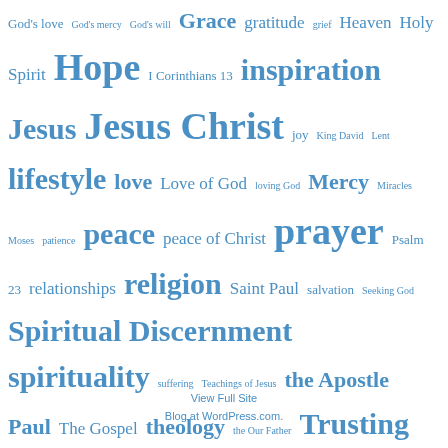God's love God's mercy God's will Grace gratitude grief Heaven Holy Spirit Hope I Corinthians 13 inspiration Jesus Jesus Christ joy King David Lent lifestyle love Love of God loving God Mercy Miracles Moses patience peace peace of Christ prayer Psalm 23 relationships religion Saint Paul salvation Seeking God Spiritual Discernment spirituality suffering Teachings of Jesus the Apostle Paul The Gospel theology the Our Father Trusting God Wisdom Worship
View Full Site
Blog at WordPress.com.